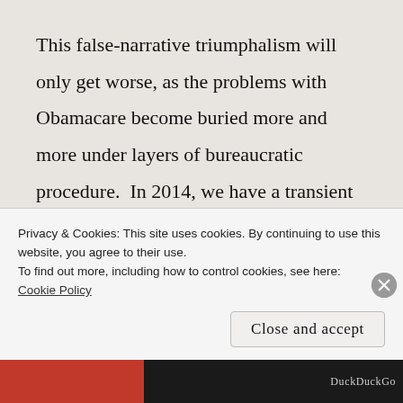This false-narrative triumphalism will only get worse, as the problems with Obamacare become buried more and more under layers of bureaucratic procedure.  In 2014, we have a transient moment in which millions of people are able to make direct comparisons with the known, experienced quality of pre-2014 insurance and medical care.  But the teachability of the moment will fade with
Privacy & Cookies: This site uses cookies. By continuing to use this website, you agree to their use.
To find out more, including how to control cookies, see here: Cookie Policy
Close and accept